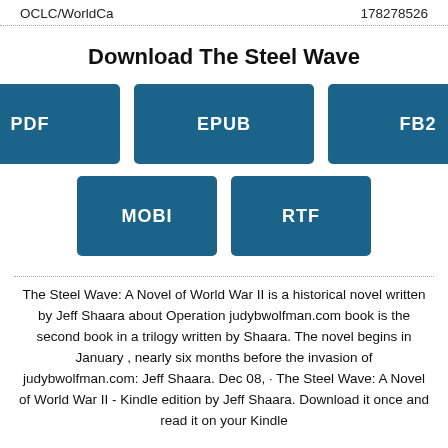OCLC/WorldCa    178278526
Download The Steel Wave
[Figure (infographic): Five download format buttons: PDF, EPUB, FB2 (top row), MOBI, RTF (bottom row), all in dark teal/blue color]
The Steel Wave: A Novel of World War II is a historical novel written by Jeff Shaara about Operation judybwolfman.com book is the second book in a trilogy written by Shaara. The novel begins in January , nearly six months before the invasion of judybwolfman.com: Jeff Shaara. Dec 08,  · The Steel Wave: A Novel of World War II - Kindle edition by Jeff Shaara. Download it once and read it on your Kindle